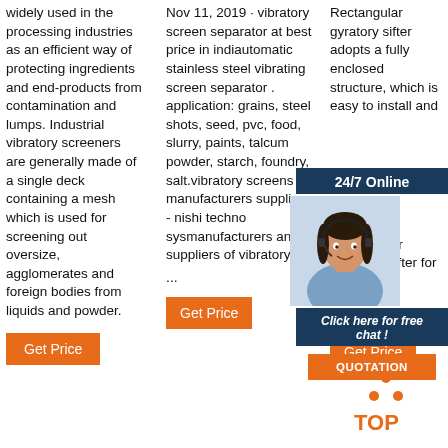widely used in the processing industries as an efficient way of protecting ingredients and end-products from contamination and lumps. Industrial vibratory screeners are generally made of a single deck containing a mesh which is used for screening out oversize, agglomerates and foreign bodies from liquids and powder.
Get Price
Nov 11, 2019 · vibratory screen separator at best price in indiautomatic stainless steel vibrating screen separator . application: grains, steel shots, seed, pvc, food, slurry, paints, talcum powder, starch, foundry, salt.vibratory screens manufacturers suppliers - nishi techno sysmanufacturers and suppliers of vibratory ...
Rectangular gyratory sifter adopts a fully enclosed structure, which is easy to install and ...
24/7 Online
Click here for free chat !
QUOTATION
Rectangular Gyratory Sifter for ...
Get Price